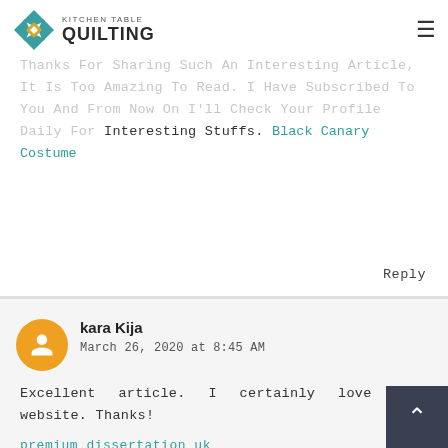Kitchen Table Quilting
Thanks For Sharing Such An Interesting Article, It Is Too Amazing To Read. I Have Subscribed To You And From Now On I'll Check Your Profile Daily For Interesting Stuffs. Black Canary Costume
Reply
kara Kija
March 26, 2020 at 8:45 AM
Excellent article. I certainly love this website. Thanks!
premium dissertation uk